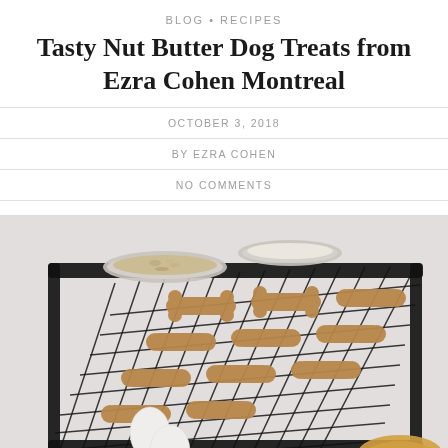BLOG • RECIPES
Tasty Nut Butter Dog Treats from Ezra Cohen Montreal
OCTOBER 3, 2018
BY EZRA COHEN
NO COMMENTS
[Figure (photo): Overhead photo of dog bone-shaped biscuits on a black wire cooling rack, with two glass bowls (one with oats, one with flour/sugar), two white eggs, and a jar of nut butter, on a light gray background.]